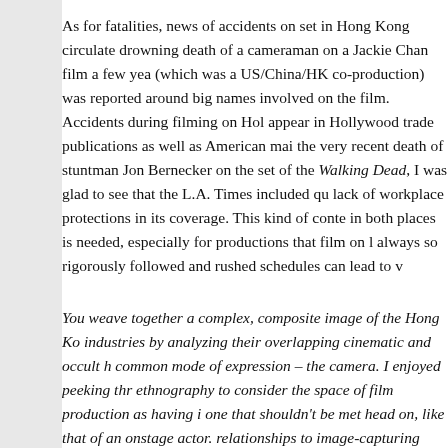As for fatalities, news of accidents on set in Hong Kong circulate drowning death of a cameraman on a Jackie Chan film a few yea (which was a US/China/HK co-production) was reported around big names involved on the film. Accidents during filming on Hol appear in Hollywood trade publications as well as American mai the very recent death of stuntman Jon Bernecker on the set of the Walking Dead, I was glad to see that the L.A. Times included qu lack of workplace protections in its coverage. This kind of conte in both places is needed, especially for productions that film on l always so rigorously followed and rushed schedules can lead to v
You weave together a complex, composite image of the Hong Ko industries by analyzing their overlapping cinematic and occult h common mode of expression – the camera. I enjoyed peeking thr ethnography to consider the space of film production as having i one that shouldn't be met head on, like that of an onstage actor. relationships to image-capturing technologies in their lives offse from their professional roles as mediators between worlds?